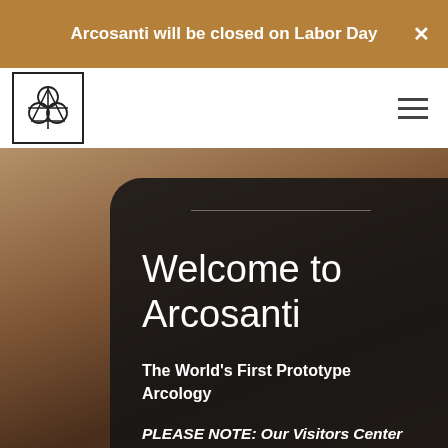Arcosanti will be closed on Labor Day
[Figure (logo): Arcosanti logo — square border with stylized geometric symbol inside]
Welcome to Arcosanti
The World's First Prototype Arcology
PLEASE NOTE: Our Visitors Center